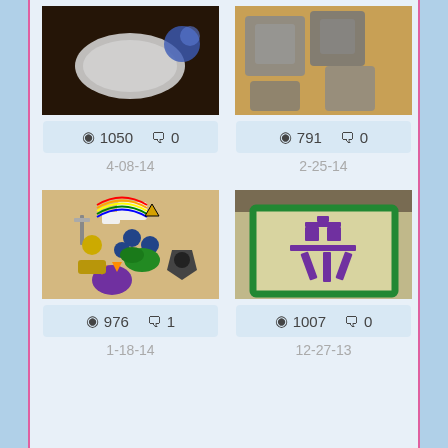[Figure (photo): White oval bowl and blue crystal on dark background]
👁 1050  💬 0
4-08-14
[Figure (photo): Perler bead coasters on wooden table]
👁 791  💬 0
2-25-14
[Figure (photo): Various pixel art perler bead figures on a surface including unicorn, characters, and Decepticon logo]
👁 976  💬 1
1-18-14
[Figure (photo): Chinese character for tea made from purple perler beads on yellow background with green border]
👁 1007  💬 0
12-27-13